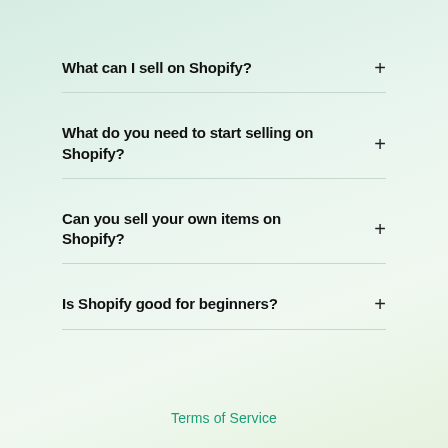What can I sell on Shopify?
What do you need to start selling on Shopify?
Can you sell your own items on Shopify?
Is Shopify good for beginners?
Terms of Service